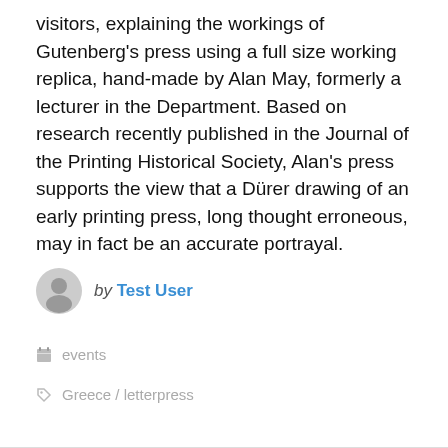visitors, explaining the workings of Gutenberg's press using a full size working replica, hand-made by Alan May, formerly a lecturer in the Department. Based on research recently published in the Journal of the Printing Historical Society, Alan's press supports the view that a Dürer drawing of an early printing press, long thought erroneous, may in fact be an accurate portrayal.
by Test User
events
Greece / letterpress